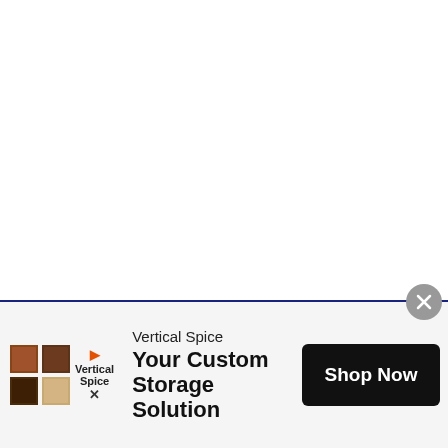[Figure (screenshot): White blank area at the top portion of a web page]
[Figure (screenshot): Blue Twitter Tweet button with bird icon]
Photos: Getty
[Figure (screenshot): Vertical Spice advertisement banner with logo, text 'Your Custom Storage Solution', and 'Shop Now' button]